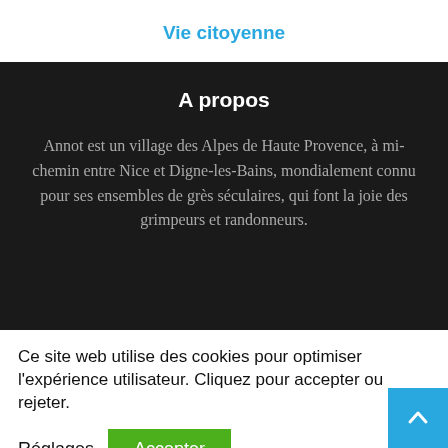Vie citoyenne
A propos
Annot est un village des Alpes de Haute Provence, à mi-chemin entre Nice et Digne-les-Bains, mondialement connu pour ses ensembles de grès séculaires, qui font la joie des grimpeurs et randonneurs.
Ce site web utilise des cookies pour optimiser l'expérience utilisateur. Cliquez pour accepter ou rejeter.
Réglages
Accepter